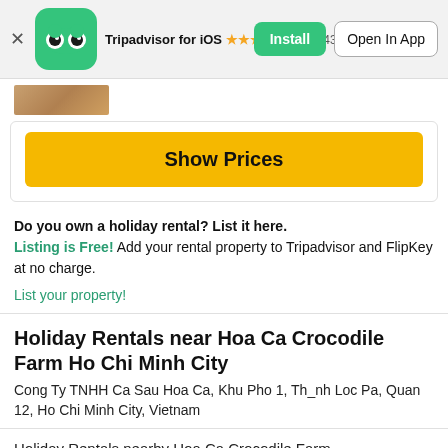[Figure (screenshot): Tripadvisor app banner with logo, star rating (110,043), Install and Open In App buttons]
[Figure (photo): Partial image strip thumbnail]
Show Prices
Do you own a holiday rental? List it here. Listing is Free! Add your rental property to Tripadvisor and FlipKey at no charge.
List your property!
Holiday Rentals near Hoa Ca Crocodile Farm Ho Chi Minh City
Cong Ty TNHH Ca Sau Hoa Ca, Khu Pho 1, Th_nh Loc Pa, Quan 12, Ho Chi Minh City, Vietnam
Holiday Rentals nearby Hoa Ca Crocodile Farm
Ho Chi Minh City
Vietnam